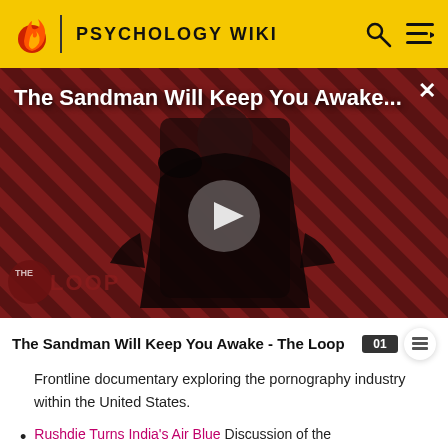PSYCHOLOGY WIKI
[Figure (screenshot): Video thumbnail for 'The Sandman Will Keep You Awake...' showing a dark-cloaked figure against a red and black diagonal striped background, with a play button in the center and 'THE LOOP' logo in the lower left.]
The Sandman Will Keep You Awake - The Loop
Frontline documentary exploring the pornography industry within the United States.
Rushdie Turns India's Air Blue Discussion of the